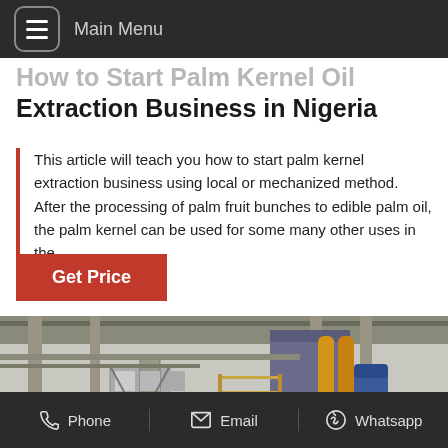Main Menu
How to Start Palm Kernel Oil Extraction Business in Nigeria
This article will teach you how to start palm kernel extraction business using local or mechanized method. After the processing of palm fruit bunches to edible palm oil, the palm kernel can be used for some many other uses in the…
[Figure (other): Button labeled 'Get Price' with red background]
[Figure (photo): Industrial palm kernel oil extraction facility interior with metal scaffolding, tanks, and yellow pipes]
Phone   Email   Whatsapp